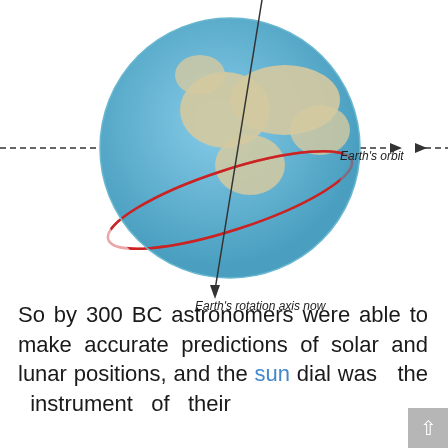[Figure (illustration): Diagram of Earth globe showing Earth's rotation axis (a line passing through the poles, tilted) and Earth's orbit (a red elliptical path around the Earth's equator region). Dashed arrows on both sides indicate the orbital path direction. Labels: 'Earth's orbit' to the right, 'Earth's rotation axis now' below the globe.]
So by 300 BC astronomers were able to make accurate predictions of solar and lunar positions, and the sun dial was the instrument of their